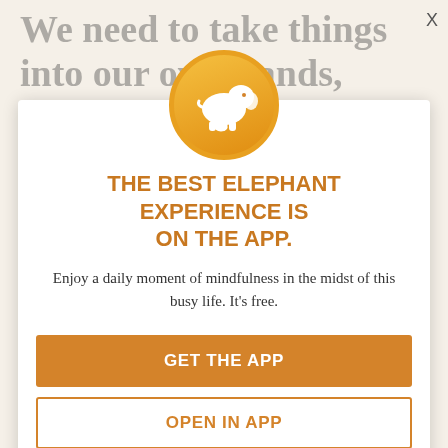We need to take things into our own hands, literally.
We can grow something organic with our own dirt and two hands, even if it's in a small pot on our windowsill, we can all form a...not much to... good annually need.
[Figure (logo): White elephant illustration on a gold/orange circular background — app icon for Elephant mindfulness app]
THE BEST ELEPHANT EXPERIENCE IS ON THE APP.
Enjoy a daily moment of mindfulness in the midst of this busy life. It's free.
GET THE APP
OPEN IN APP